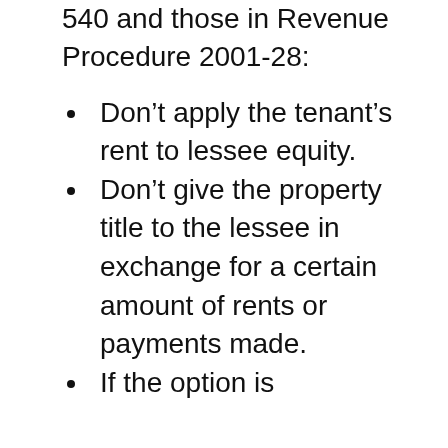540 and those in Revenue Procedure 2001-28:
Don’t apply the tenant’s rent to lessee equity.
Don’t give the property title to the lessee in exchange for a certain amount of rents or payments made.
If the option is